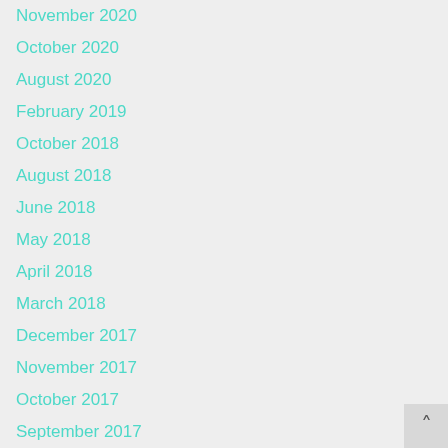November 2020
October 2020
August 2020
February 2019
October 2018
August 2018
June 2018
May 2018
April 2018
March 2018
December 2017
November 2017
October 2017
September 2017